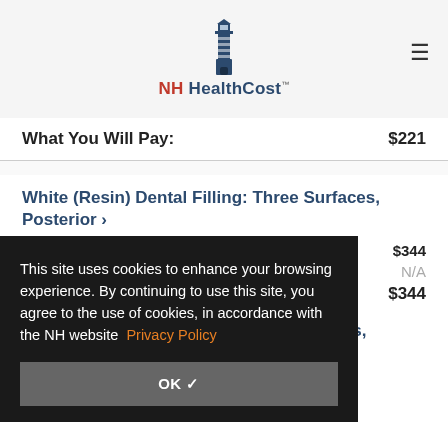[Figure (logo): NH HealthCost lighthouse logo with red and navy text]
|  |  |
| --- | --- |
| What You Will Pay: | $221 |
White (Resin) Dental Filling: Three Surfaces, Posterior >
|  |  |
| --- | --- |
| Estimate of Procedure Cost: | $344 |
|  | N/A |
| What You Will Pay: | $344 |
This site uses cookies to enhance your browsing experience. By continuing to use this site, you agree to the use of cookies, in accordance with the NH website Privacy Policy
White (Resin) Dental Filling: Two Surfaces,